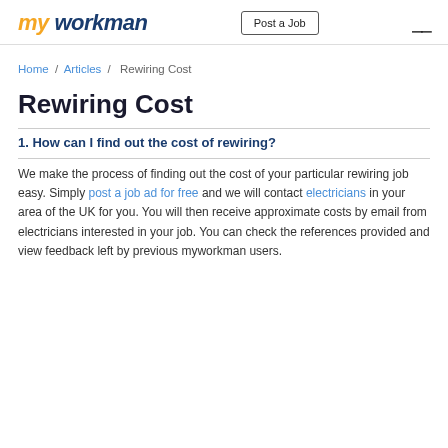my workman | Post a Job
Home / Articles / Rewiring Cost
Rewiring Cost
1. How can I find out the cost of rewiring?
We make the process of finding out the cost of your particular rewiring job easy. Simply post a job ad for free and we will contact electricians in your area of the UK for you. You will then receive approximate costs by email from electricians interested in your job. You can check the references provided and view feedback left by previous myworkman users.